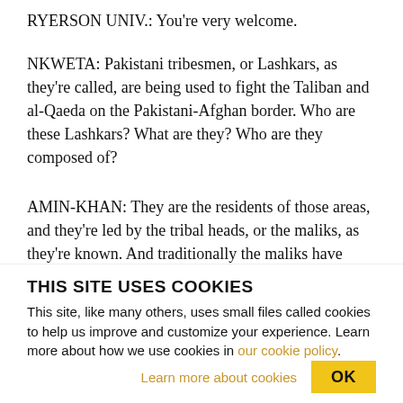RYERSON UNIV.: You're very welcome.
NKWETA: Pakistani tribesmen, or Lashkars, as they're called, are being used to fight the Taliban and al-Qaeda on the Pakistani-Afghan border. Who are these Lashkars? What are they? Who are they composed of?
AMIN-KHAN: They are the residents of those areas, and they're led by the tribal heads, or the maliks, as they're known. And traditionally the maliks have
THIS SITE USES COOKIES
This site, like many others, uses small files called cookies to help us improve and customize your experience. Learn more about how we use cookies in our cookie policy.
Learn more about cookies
OK